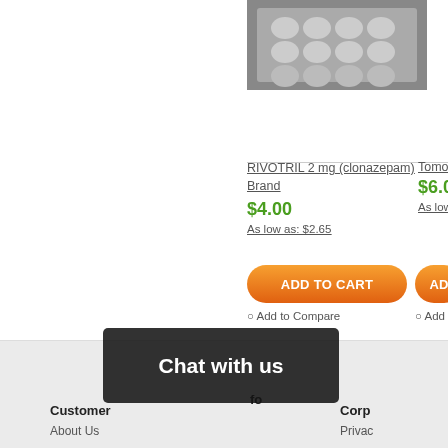[Figure (photo): Blister pack of pills (clonazepam tablets), gray background, top-right area of page]
RIVOTRIL 2 mg (clonazepam) Brand
$4.00
As low as: $2.65
Tomox
$6.00
As low
ADD TO CART
AD
○ Add to Compare
○ Add
Items 1 to 30 of 70 total
View as: Grid  List
Customer
About Us
fo
Corp
Privac
Chat with us